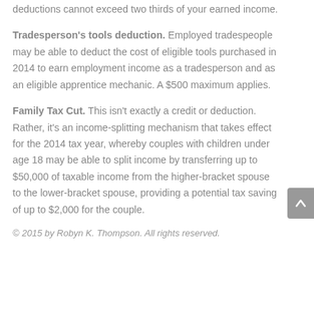deductions cannot exceed two thirds of your earned income.
Tradesperson's tools deduction. Employed tradespeople may be able to deduct the cost of eligible tools purchased in 2014 to earn employment income as a tradesperson and as an eligible apprentice mechanic. A $500 maximum applies.
Family Tax Cut. This isn't exactly a credit or deduction. Rather, it's an income-splitting mechanism that takes effect for the 2014 tax year, whereby couples with children under age 18 may be able to split income by transferring up to $50,000 of taxable income from the higher-bracket spouse to the lower-bracket spouse, providing a potential tax saving of up to $2,000 for the couple.
© 2015 by Robyn K. Thompson. All rights reserved.